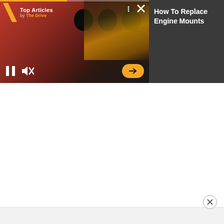[Figure (screenshot): Video player showing an engine block (red/orange color) with visible cylinder holes, with a yellow motorcycle visible in the background. Video controls visible including pause button, mute button, and orange arrow button. Progress bar at top.]
Top Articles by The Drive
How To Replace Engine Mounts